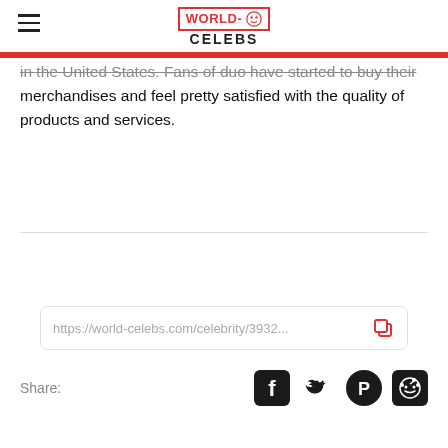WORLD-CELEBS
in the United States. Fans of duo have started to buy their merchandises and feel pretty satisfied with the quality of products and services.
https://world-celebs.com/celebrity/3932...
Share: